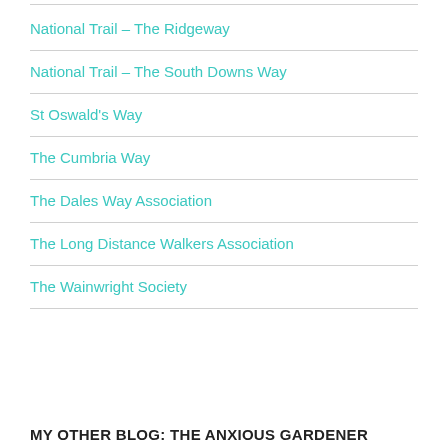National Trail – The Ridgeway
National Trail – The South Downs Way
St Oswald's Way
The Cumbria Way
The Dales Way Association
The Long Distance Walkers Association
The Wainwright Society
MY OTHER BLOG: THE ANXIOUS GARDENER